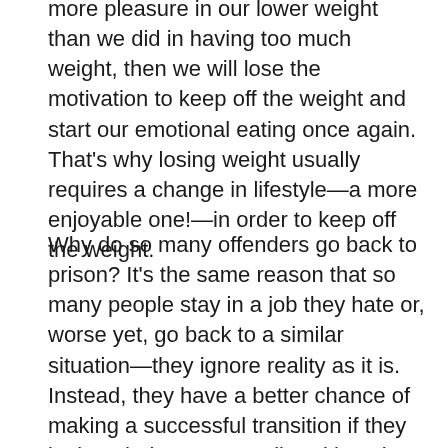more pleasure in our lower weight than we did in having too much weight, then we will lose the motivation to keep off the weight and start our emotional eating once again. That's why losing weight usually requires a change in lifestyle—a more enjoyable one!—in order to keep off the weight.
Why do so many offenders go back to prison? It's the same reason that so many people stay in a job they hate or, worse yet, go back to a similar situation—they ignore reality as it is. Instead, they have a better chance of making a successful transition if they look at their current reality with a clear eye, open mind, and truthful awareness.